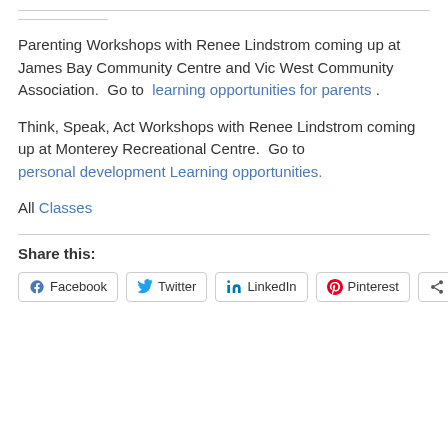Parenting Workshops with Renee Lindstrom coming up at James Bay Community Centre and Vic West Community Association.  Go to  learning opportunities for parents .
Think, Speak, Act Workshops with Renee Lindstrom coming up at Monterey Recreational Centre.  Go to personal development Learning opportunities.
All Classes
Share this:
Facebook  Twitter  LinkedIn  Pinterest  More